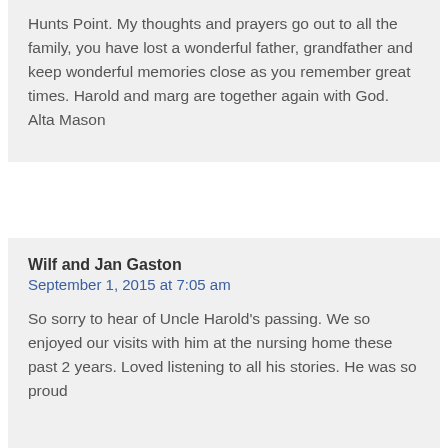Hunts Point. My thoughts and prayers go out to all the family, you have lost a wonderful father, grandfather and keep wonderful memories close as you remember great times. Harold and marg are together again with God.
Alta Mason
Wilf and Jan Gaston
September 1, 2015 at 7:05 am
So sorry to hear of Uncle Harold's passing. We so enjoyed our visits with him at the nursing home these past 2 years. Loved listening to all his stories. He was so proud